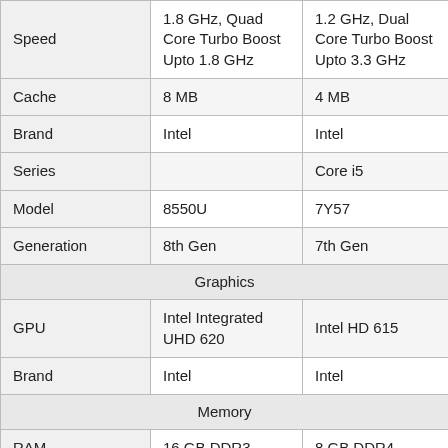|  | Product 1 | Product 2 |
| --- | --- | --- |
| Speed | 1.8 GHz, Quad Core Turbo Boost Upto 1.8 GHz | 1.2 GHz, Dual Core Turbo Boost Upto 3.3 GHz |
| Cache | 8 MB | 4 MB |
| Brand | Intel | Intel |
| Series |  | Core i5 |
| Model | 8550U | 7Y57 |
| Generation | 8th Gen | 7th Gen |
| Graphics | None | None |
| GPU | Intel Integrated UHD 620 | Intel HD 615 |
| Brand | Intel | Intel |
| Memory | None | None |
| RAM | 16 GB DDR3 | 8 GB DDR4 |
| RAM Bus Speed | 2133 MHz | 2400 MHz |
| RAM Slots |  | 1 |